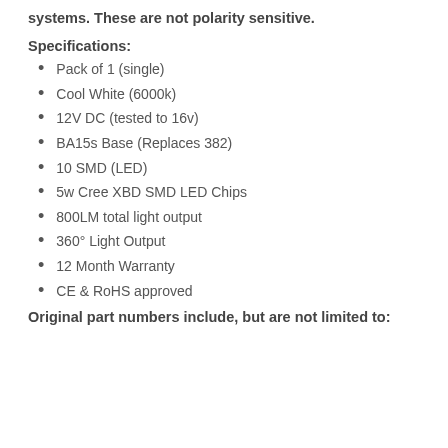systems. These are not polarity sensitive.
Specifications:
Pack of 1 (single)
Cool White (6000k)
12V DC (tested to 16v)
BA15s Base (Replaces 382)
10 SMD (LED)
5w Cree XBD SMD LED Chips
800LM total light output
360° Light Output
12 Month Warranty
CE & RoHS approved
Original part numbers include, but are not limited to: